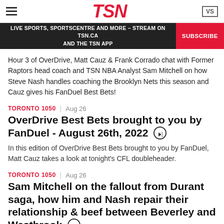TSN
LIVE SPORTS, SPORTSCENTRE AND MORE – STREAM ON TSN.CA AND THE TSN APP | SUBSCRIBE
Hour 3 of OverDrive, Matt Cauz & Frank Corrado chat with Former Raptors head coach and TSN NBA Analyst Sam Mitchell on how Steve Nash handles coaching the Brooklyn Nets this season and Cauz gives his FanDuel Best Bets!
TORONTO 1050 | Aug 26
OverDrive Best Bets brought to you by FanDuel - August 26th, 2022
In this edition of OverDrive Best Bets brought to you by FanDuel, Matt Cauz takes a look at tonight's CFL doubleheader.
TORONTO 1050 | Aug 26
Sam Mitchell on the fallout from Durant saga, how him and Nash repair their relationship & beef between Beverley and Westbrook